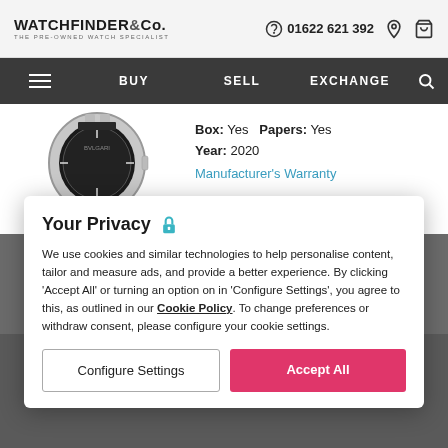WATCHFINDER & Co. THE PRE-OWNED WATCH SPECIALIST | 01622 621 392
[Figure (screenshot): Navigation bar with hamburger menu, BUY, SELL, EXCHANGE links and search icon on dark background]
[Figure (photo): Partial image of a luxury watch with black leather strap]
Box: Yes  Papers: Yes
Year: 2020
Manufacturer's Warranty
Your Privacy
We use cookies and similar technologies to help personalise content, tailor and measure ads, and provide a better experience. By clicking 'Accept All' or turning an option on in 'Configure Settings', you agree to this, as outlined in our Cookie Policy. To change preferences or withdraw consent, please configure your cookie settings.
Configure Settings
Accept All